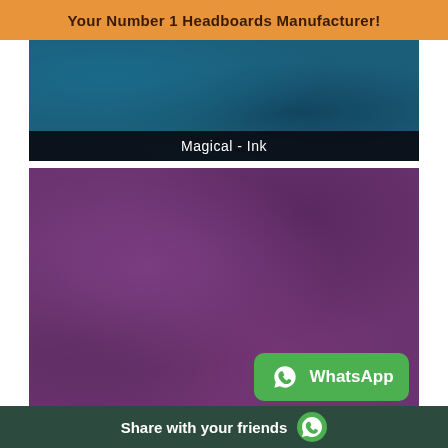Your Number 1 Headboards Manufacturer!
[Figure (photo): Fabric swatch in dark teal/ink color with label 'Magical - Ink' on a dark bar at the bottom]
Magical - Ink
[Figure (photo): Fabric swatch in deep purple/violet color with WhatsApp button overlay]
Share with your friends